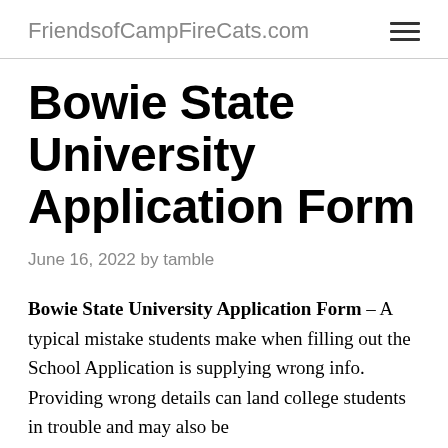FriendsofCampFireCats.com
Bowie State University Application Form
June 16, 2022 by tamble
Bowie State University Application Form – A typical mistake students make when filling out the School Application is supplying wrong info. Providing wrong details can land college students in trouble and may also be